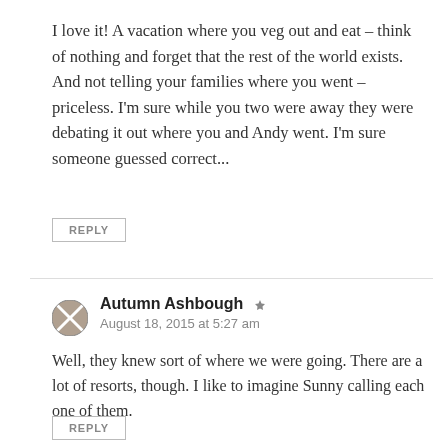I love it! A vacation where you veg out and eat – think of nothing and forget that the rest of the world exists. And not telling your families where you went – priceless. I'm sure while you two were away they were debating it out where you and Andy went. I'm sure someone guessed correct...
REPLY
Autumn Ashbough
August 18, 2015 at 5:27 am
Well, they knew sort of where we were going. There are a lot of resorts, though. I like to imagine Sunny calling each one of them.
REPLY